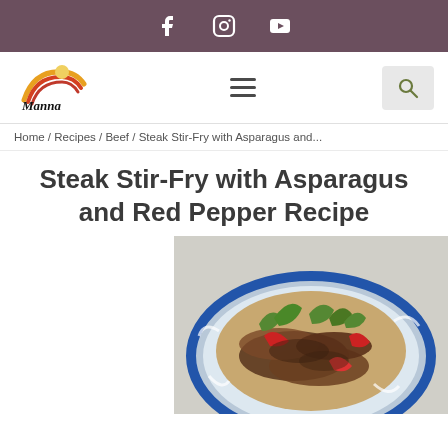Social media icons bar (Facebook, Instagram, YouTube)
[Figure (logo): Manna Health Products logo with rainbow arc and text]
Home / Recipes / Beef / Steak Stir-Fry with Asparagus and...
Steak Stir-Fry with Asparagus and Red Pepper Recipe
[Figure (photo): Photo of steak stir-fry with asparagus and red pepper served on a decorative blue and white plate]